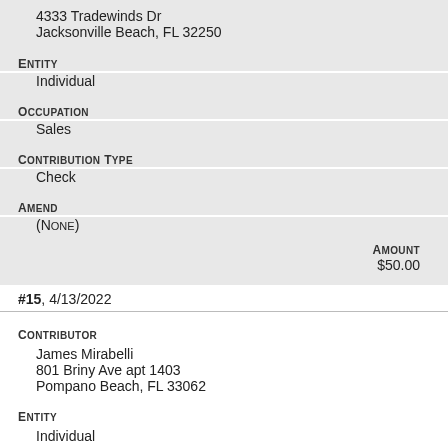4333 Tradewinds Dr
Jacksonville Beach, FL 32250
Entity
Individual
Occupation
Sales
Contribution Type
Check
Amend
(None)
Amount $50.00
#15, 4/13/2022
Contributor
James Mirabelli
801 Briny Ave apt 1403
Pompano Beach, FL 33062
Entity
Individual
Occupation